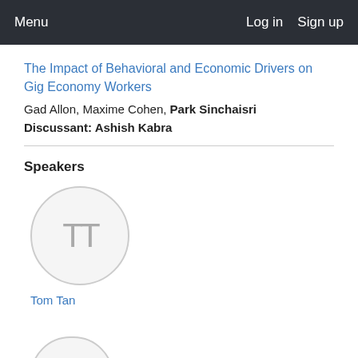Menu   Log in   Sign up
The Impact of Behavioral and Economic Drivers on Gig Economy Workers
Gad Allon, Maxime Cohen, Park Sinchaisri
Discussant: Ashish Kabra
Speakers
[Figure (illustration): Circular avatar placeholder with initials TT in grey]
Tom Tan
[Figure (illustration): Circular avatar placeholder, partially visible at bottom of page]